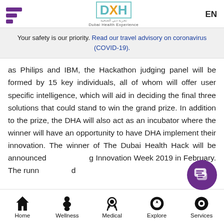DXH Dubai Health Experience
Your safety is our priority. Read our travel advisory on coronavirus (COVID-19).
as Philips and IBM, the Hackathon judging panel will be formed by 15 key individuals, all of whom will offer user specific intelligence, which will aid in deciding the final three solutions that could stand to win the grand prize. In addition to the prize, the DHA will also act as an incubator where the winner will have an opportunity to have DHA implement their innovation. The winner of The Dubai Health Hack will be announced during Innovation Week 2019 in February. The runner and
Home  Wellness  Medical  Explore  Services